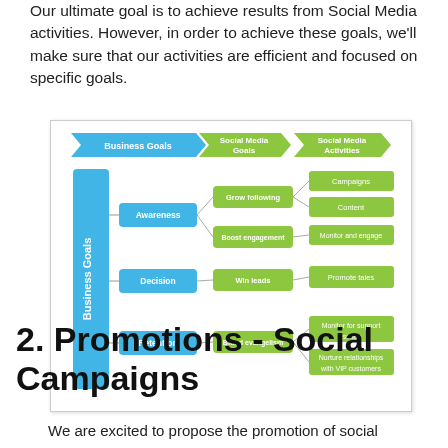Our ultimate goal is to achieve results from Social Media activities. However, in order to achieve these goals, we'll make sure that our activities are efficient and focused on specific goals.
[Figure (flowchart): Flowchart showing Business Goals linking to Social Media Goals and Social Media Activities. Business Goals column (vertical blue bar) contains: Awareness, Decision, Retention. Awareness links to Grow following (which links to Campaigns and Content) and Boost engagement (which links to Monitor and engage). Decision links to Win leads (which links to Promote tales). Retention links to Brand evangelism (which links to Monitor for support issues and Nurture relationships with VIP customers). Three header arrows at top: Business Goals (blue), Social Media Goals (green), Social Media Activities (green).]
2. Promotions - Social Campaigns
We are excited to propose the promotion of social